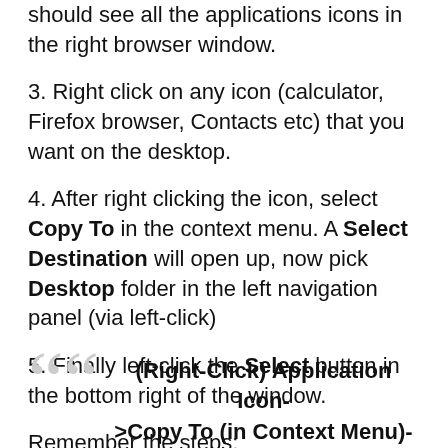should see all the applications icons in the right browser window.
3. Right click on any icon (calculator, Firefox browser, Contacts etc) that you want on the desktop.
4. After right clicking the icon, select Copy To in the context menu. A Select Destination will open up, now pick Desktop folder in the left navigation panel (via left-click)
5. Finally left-click the Select button in the bottom right of the window.
Remember the steps:
(Right-Click) Application Icon->Copy To (in Context Menu)-